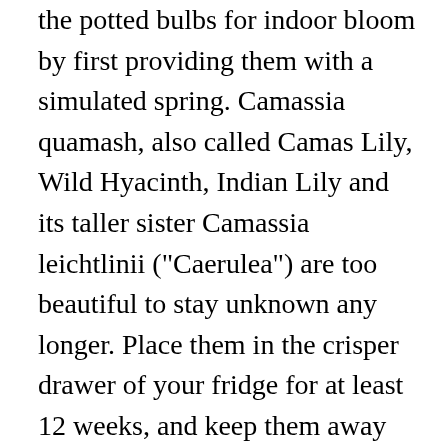the potted bulbs for indoor bloom by first providing them with a simulated spring. Camassia quamash, also called Camas Lily, Wild Hyacinth, Indian Lily and its taller sister Camassia leichtlinii ("Caerulea") are too beautiful to stay unknown any longer. Place them in the crisper drawer of your fridge for at least 12 weeks, and keep them away from produce (it's a good idea to keep your bulbs ... Please note that the growth of the bulbs will be slower in a cooler part of the house. All you need is a couple of vases with narrow necks, some bulbs and water. Every year, we test new arrangements in trials at the farm, selecting only the loveliest combinations. A fragrant floral favorite (say that three times fast..!